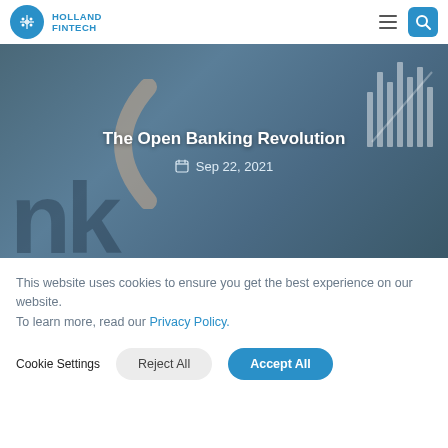Holland Fintech
[Figure (photo): Hero image with blurred financial chart background overlaid with dark blue tint, showing partial text 'nk' and a circular arc shape on the left, and candlestick/bar chart lines on the right. Overlaid with title text 'The Open Banking Revolution' and date 'Sep 22, 2021'.]
The Open Banking Revolution
Sep 22, 2021
This website uses cookies to ensure you get the best experience on our website.
To learn more, read our Privacy Policy.
Cookie Settings
Reject All
Accept All